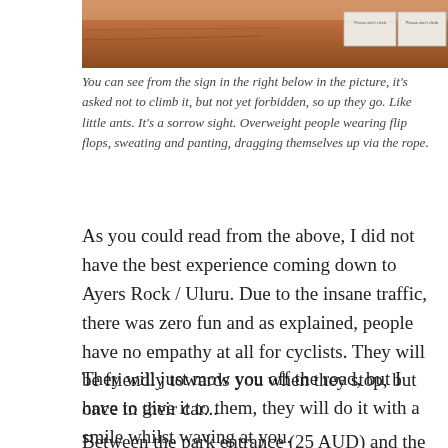[Figure (photo): Photograph of red rock formations (Uluru/Ayers Rock area) with two information signs visible in the upper right corner]
You can see from the sign in the right below in the picture, it's asked not to climb it, but not yet forbidden, so up they go. Like little ants. It's a sorrow sight. Overweight people wearing flip flops, sweating and panting, dragging themselves up via the rope.
As you could read from the above, I did not have the best experience coming down to Ayers Rock / Uluru. Due to the insane traffic, there was zero fun and as explained, people have no empathy at all for cyclists. They will be friendly towards you when they stop, but once in their car...
They will just mow you off the road, but I have to give it to them, they will do it with a smile whilst waving at you.
Between the park entrance (25 AUD) and the rock, I again stopped at a lookout and took some branches to